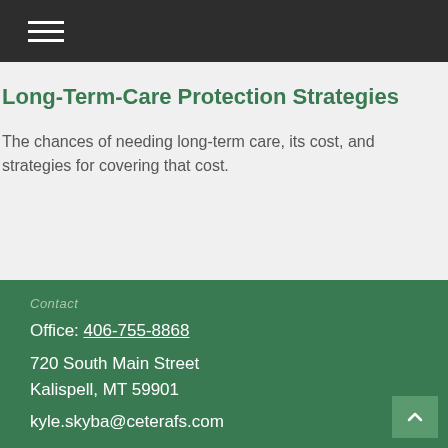Long-Term-Care Protection Strategies
The chances of needing long-term care, its cost, and strategies for covering that cost.
Contact
Office: 406-755-8868
720 South Main Street
Kalispell, MT 59901
kyle.skyba@ceterafs.com